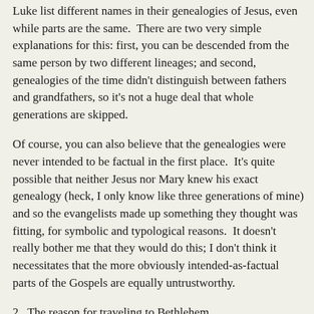Luke list different names in their genealogies of Jesus, even while parts are the same.  There are two very simple explanations for this: first, you can be descended from the same person by two different lineages; and second, genealogies of the time didn't distinguish between fathers and grandfathers, so it's not a huge deal that whole generations are skipped.
Of course, you can also believe that the genealogies were never intended to be factual in the first place.  It's quite possible that neither Jesus nor Mary knew his exact genealogy (heck, I only know like three generations of mine) and so the evangelists made up something they thought was fitting, for symbolic and typological reasons.  It doesn't really bother me that they would do this; I don't think it necessitates that the more obviously intended-as-factual parts of the Gospels are equally untrustworthy.
2.  The reason for traveling to Bethlehem
Both Matthew and Luke are intending to deal with a problem in Jesus' credentials -- the Messiah was supposed to come from Bethlehem, but everyone knew he came from Nazareth.  The Gospels report that Jesus' hearers thought no one good could ever